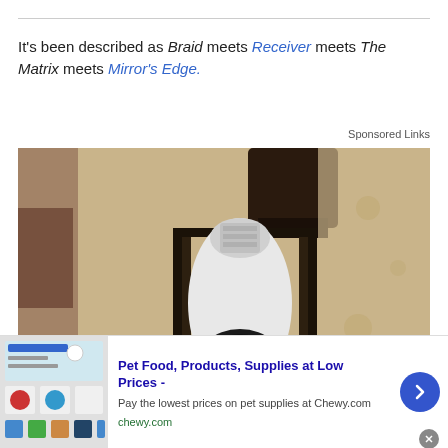It's been described as Braid meets Receiver meets The Matrix meets Mirror's Edge.
Sponsored Links
[Figure (photo): A white security camera bulb installed in a black outdoor lantern fixture mounted on a textured stone wall. The camera bulb has a ring of LED lights visible at its base.]
Pet Food, Products, Supplies at Low Prices - Pay the lowest prices on pet supplies at Chewy.com | chewy.com